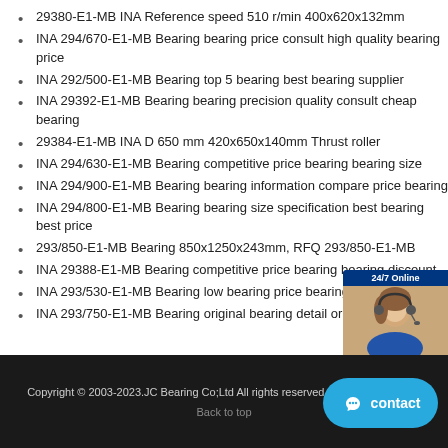29380-E1-MB INA Reference speed 510 r/min 400x620x132mm
INA 294/670-E1-MB Bearing bearing price consult high quality bearing price
INA 292/500-E1-MB Bearing top 5 bearing best bearing supplier
INA 29392-E1-MB Bearing bearing precision quality consult cheap bearing
29384-E1-MB INA D 650 mm 420x650x140mm Thrust roller
INA 294/630-E1-MB Bearing competitive price bearing bearing size
INA 294/900-E1-MB Bearing bearing information compare price bearing
INA 294/800-E1-MB Bearing bearing size specification best bearing best price
293/850-E1-MB Bearing 850x1250x243mm, RFQ 293/850-E1-MB
INA 29388-E1-MB Bearing competitive price bearing bearing discount
INA 293/530-E1-MB Bearing low bearing price bearing store
INA 293/750-E1-MB Bearing original bearing detail original bearing
Copyright © 2003-2023.JC Bearing Co;Ltd All rights reserved. | bearing-sale.com
Back to top